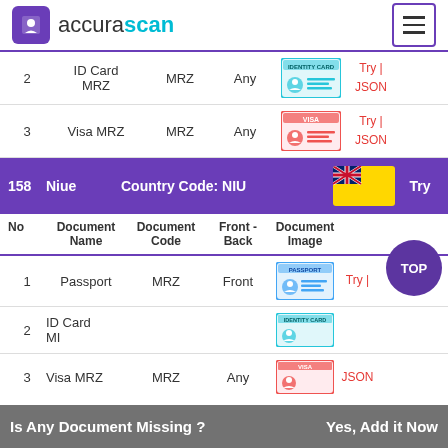[Figure (logo): Accurascan logo with purple icon and teal/purple text, plus hamburger menu icon]
| No | Document Name | Document Code | Front - Back | Document Image |  |
| --- | --- | --- | --- | --- | --- |
| 2 | ID Card MRZ | MRZ | Any | [ID Card image] | Try | JSON |
| 3 | Visa MRZ | MRZ | Any | [Visa image] | Try | JSON |
| 158 | Niue | Country Code: NIU |  | [Niue flag] | Try |
| --- | --- | --- | --- | --- | --- |
| No | Document Name | Document Code | Front - Back | Document Image |  |
| 1 | Passport | MRZ | Front | [Passport image] | Try | |
| 2 | ID Card MRZ | MRZ |  | [ID Card image] |  |
| 3 | Visa MRZ | MRZ | Any | [Visa image] | JSON |
Is Any Document Missing ?    Yes, Add it Now